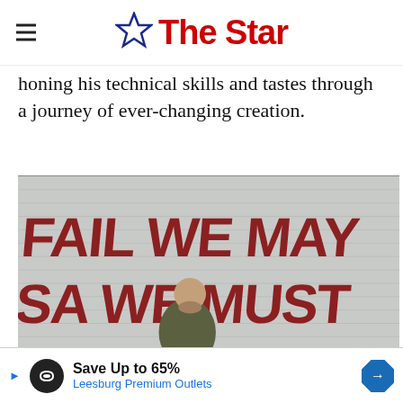The Star
honing his technical skills and tastes through a journey of ever-changing creation.
[Figure (photo): A bald man with a beard sits in front of a white brick wall painted with large red graffiti text reading 'FAIL WE MAY SA_ WE MUST']
Save Up to 65% Leesburg Premium Outlets